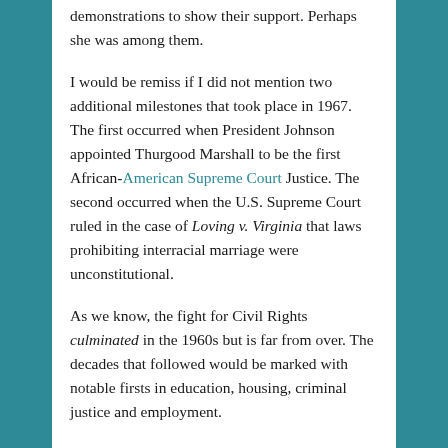demonstrations to show their support. Perhaps she was among them.
I would be remiss if I did not mention two additional milestones that took place in 1967. The first occurred when President Johnson appointed Thurgood Marshall to be the first African-American Supreme Court Justice. The second occurred when the U.S. Supreme Court ruled in the case of Loving v. Virginia that laws prohibiting interracial marriage were unconstitutional.
As we know, the fight for Civil Rights culminated in the 1960s but is far from over. The decades that followed would be marked with notable firsts in education, housing, criminal justice and employment.
I am sure that Ms. Mushatt Jones was extremely proud of all that she, and her family, accomplished. She never had children but was a doting aunt to her nieces and nephews. She encouraged them to go to college, and provided financial support to help them along. Wouldn't